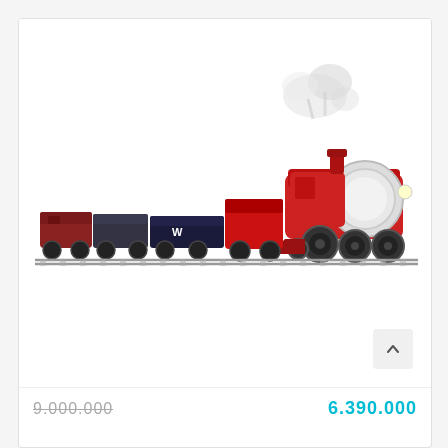[Figure (photo): A red model steam train set viewed from the side, with multiple freight cars stretching to the left and the large red locomotive on the right emitting white steam/smoke. The train is displayed on a white background.]
9.000.000
6.390.000